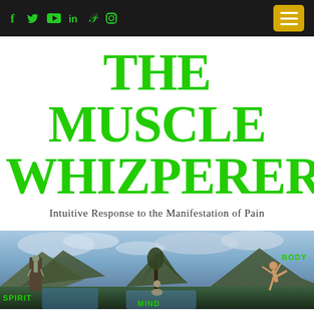f y ▶ in P ⊙ [social icons] [menu button]
THE MUSCLE WHIZPERER
Intuitive Response to the Manifestation of Pain
[Figure (photo): Panoramic banner image showing a mountain/waterfall landscape scene with three figures labeled SPIRIT (left, person hanging from cliff), MIND (center, person meditating), and BODY (right, person doing a martial arts kick). Dramatic cloudy sky.]
Browsing:
MONTH: JUNE 2019